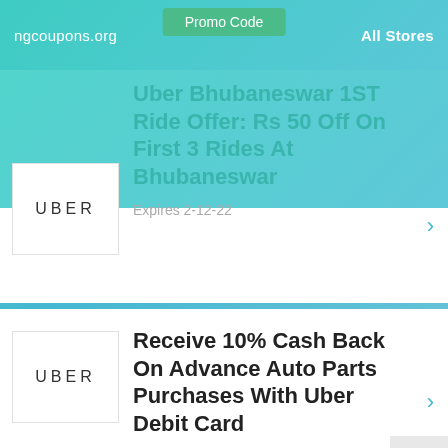Promo Code | ngcoupons.org | All Stores
Uber Bhubaneswar 1ST Ride Offer: Rs 50 Off On First 3 Rides At Bhubaneswar
Expires 2-12-22
Receive 10% Cash Back On Advance Auto Parts Purchases With Uber Debit Card
Expires 2-12-22
Uber Discount Code